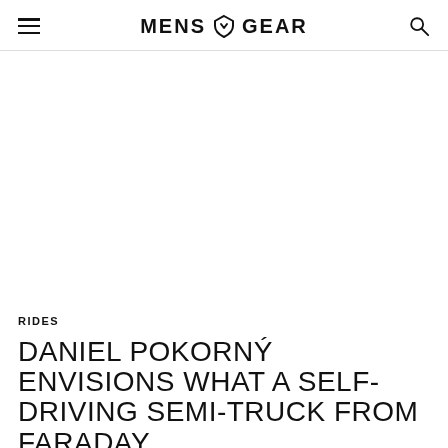MENS GEAR
[Figure (other): Large blank/white image placeholder area for article hero image]
RIDES
DANIEL POKORNÝ ENVISIONS WHAT A SELF-DRIVING SEMI-TRUCK FROM FARADAY